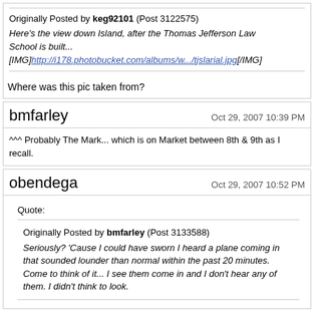Originally Posted by keg92101 (Post 3122575) Here's the view down Island, after the Thomas Jefferson Law School is built... [IMG]http://i178.photobucket.com/albums/w.../tjslarial.jpg[/IMG]
Where was this pic taken from?
bmfarley Oct 29, 2007 10:39 PM
^^^ Probably The Mark... which is on Market between 8th & 9th as I recall.
obendega Oct 29, 2007 10:52 PM
Quote: Originally Posted by bmfarley (Post 3133588) Seriously? 'Cause I could have sworn I heard a plane coming in that sounded lounder than normal within the past 20 minutes. Come to think of it... I see them come in and I don't hear any of them. I didn't think to look.